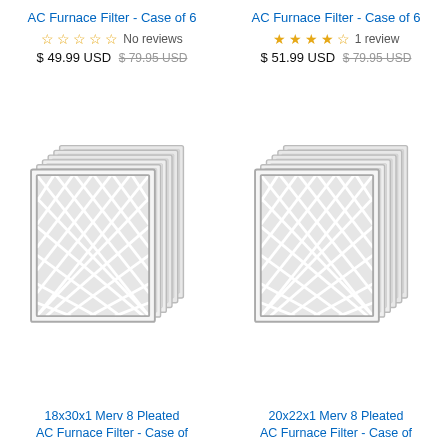AC Furnace Filter - Case of 6
No reviews
$ 49.99 USD $ 79.95 USD
[Figure (photo): Stack of 6 pleated AC furnace filters shown at an angle, white/grey color with diamond lattice pattern]
18x30x1 Merv 8 Pleated AC Furnace Filter - Case of
AC Furnace Filter - Case of 6
1 review
$ 51.99 USD $ 79.95 USD
[Figure (photo): Stack of 6 pleated AC furnace filters shown at an angle, white/grey color with diamond lattice pattern]
20x22x1 Merv 8 Pleated AC Furnace Filter - Case of